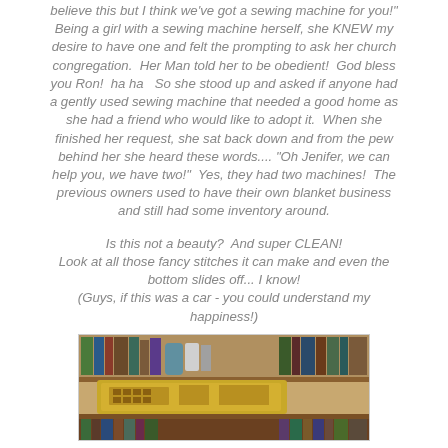believe this but I think we've got a sewing machine for you!" Being a girl with a sewing machine herself, she KNEW my desire to have one and felt the prompting to ask her church congregation. Her Man told her to be obedient! God bless you Ron! ha ha So she stood up and asked if anyone had a gently used sewing machine that needed a good home as she had a friend who would like to adopt it. When she finished her request, she sat back down and from the pew behind her she heard these words.... "Oh Jenifer, we can help you, we have two!" Yes, they had two machines! The previous owners used to have their own blanket business and still had some inventory around.
Is this not a beauty? And super CLEAN!
Look at all those fancy stitches it can make and even the bottom slides off... I know!
(Guys, if this was a car - you could understand my happiness!)
[Figure (photo): A photograph of a sewing machine on a wooden shelf or table, surrounded by books and other items in a room.]